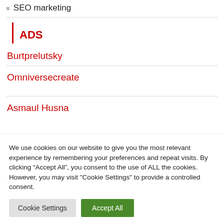SEO marketing
ADS
Burtprelutsky
Omniversecreate
Asmaul Husna
We use cookies on our website to give you the most relevant experience by remembering your preferences and repeat visits. By clicking “Accept All”, you consent to the use of ALL the cookies. However, you may visit "Cookie Settings" to provide a controlled consent.